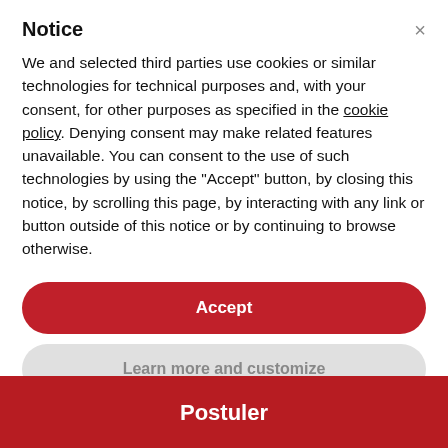Notice
We and selected third parties use cookies or similar technologies for technical purposes and, with your consent, for other purposes as specified in the cookie policy. Denying consent may make related features unavailable. You can consent to the use of such technologies by using the "Accept" button, by closing this notice, by scrolling this page, by interacting with any link or button outside of this notice or by continuing to browse otherwise.
Accept
Learn more and customize
Postuler